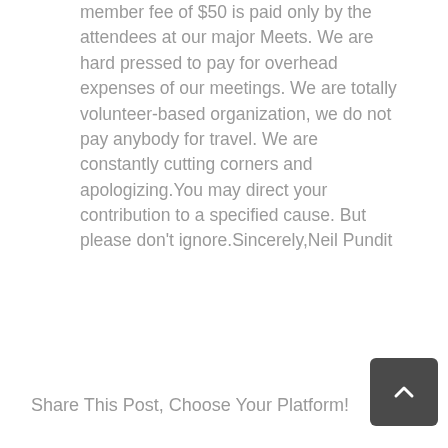member fee of $50 is paid only by the attendees at our major Meets. We are hard pressed to pay for overhead expenses of our meetings. We are totally volunteer-based organization, we do not pay anybody for travel. We are constantly cutting corners and apologizing.You may direct your contribution to a specified cause. But please don't ignore.Sincerely,Neil Pundit
Share This Post, Choose Your Platform!